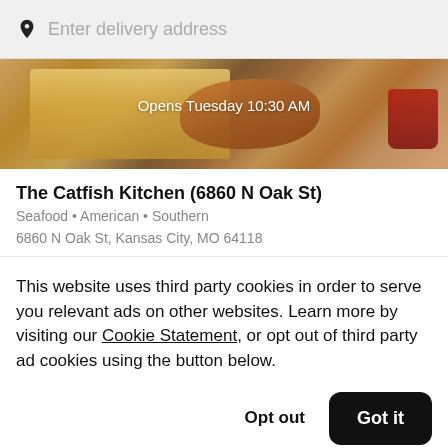Enter delivery address
[Figure (photo): Food photo showing french fries, fried chicken/fish, and a sauce cup on a dark background, with overlay text 'Opens Tuesday 10:30 AM']
The Catfish Kitchen (6860 N Oak St)
Seafood • American • Southern
6860 N Oak St, Kansas City, MO 64118
This website uses third party cookies in order to serve you relevant ads on other websites. Learn more by visiting our Cookie Statement, or opt out of third party ad cookies using the button below.
Opt out
Got it